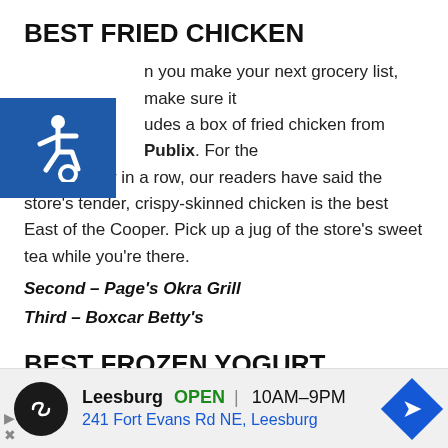BEST FRIED CHICKEN
[Figure (logo): Blue accessibility wheelchair symbol icon]
When you make your next grocery list, make sure it includes a box of fried chicken from Publix. For the second year in a row, our readers have said the store's tender, crispy-skinned chicken is the best East of the Cooper. Pick up a jug of the store's sweet tea while you're there.
Second – Page's Okra Grill
Third – Boxcar Betty's
BEST FROZEN YOGURT
Mt Pleasant has again chosen TCBY as the top spot
[Figure (logo): Advertisement: Leesburg store logo with OPEN hours 10AM-9PM and address 241 Fort Evans Rd NE, Leesburg with navigation arrow]